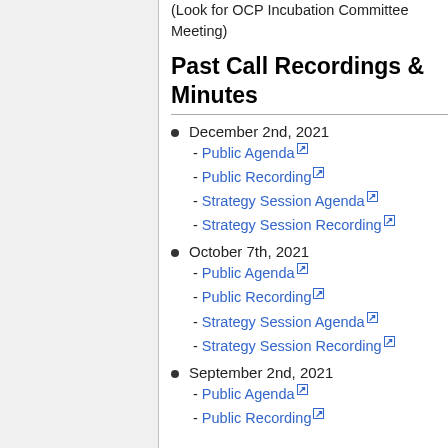(Look for OCP Incubation Committee Meeting)
Past Call Recordings & Minutes
December 2nd, 2021 - Public Agenda - Public Recording - Strategy Session Agenda - Strategy Session Recording
October 7th, 2021 - Public Agenda - Public Recording - Strategy Session Agenda - Strategy Session Recording
September 2nd, 2021 - Public Agenda - Public Recording